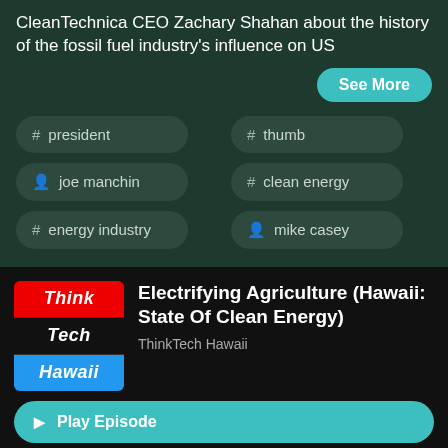CleanTechnica CEO Zachary Shahan about the history of the fossil fuel industry's influence on US
See More
# president
# thumb
person joe manchin
# clean energy
# energy industry
person mike casey
[Figure (logo): ThinkTech Hawaii podcast logo with red Think, black Tech, blue Hawaii sections]
Electrifying Agriculture (Hawaii: State Of Clean Energy)
ThinkTech Hawaii
Play Episode
Listen Later